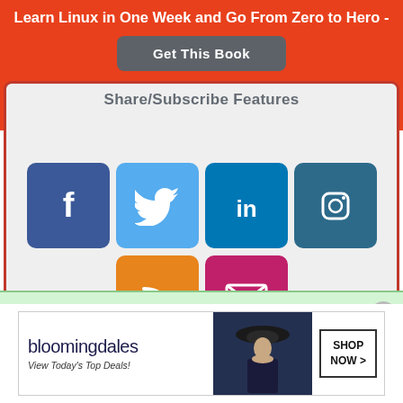Learn Linux in One Week and Go From Zero to Hero -
Get This Book
[Figure (infographic): Social media sharing icons: Facebook (blue), Twitter (light blue), LinkedIn (dark blue), Instagram (dark teal), RSS (orange), Email/Mail (pink/magenta) arranged in a rounded box]
A Beginners Guide To Learn Linux for Free [with Examples]
[Figure (photo): Bloomingdale's advertisement: logo, 'View Today's Top Deals!', woman with hat, SHOP NOW button]